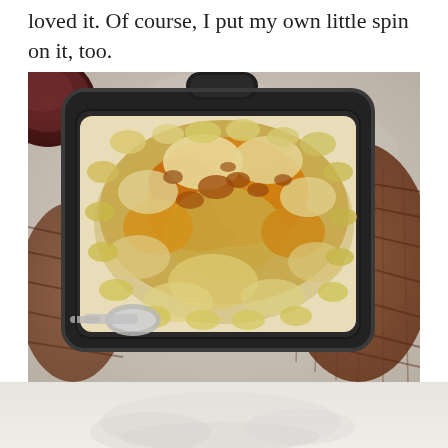loved it. Of course, I put my own little spin on it, too.
[Figure (photo): Overhead view of baked mac and cheese in a black cast iron rectangular baking dish, with golden-brown bubbly cheese topping, a spoon partially visible at lower left, dish sitting on a woven wicker mat on a textured stone surface. A dark bowl partially visible at top left.]
[Figure (photo): Partial bottom portion of another image showing a light-colored surface, likely a continuation of a food photo below.]